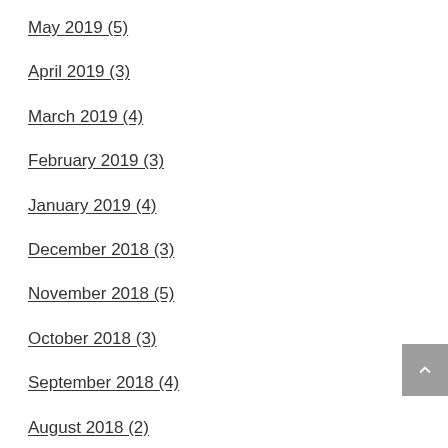May 2019 (5)
April 2019 (3)
March 2019 (4)
February 2019 (3)
January 2019 (4)
December 2018 (3)
November 2018 (5)
October 2018 (3)
September 2018 (4)
August 2018 (2)
July 2018 (6)